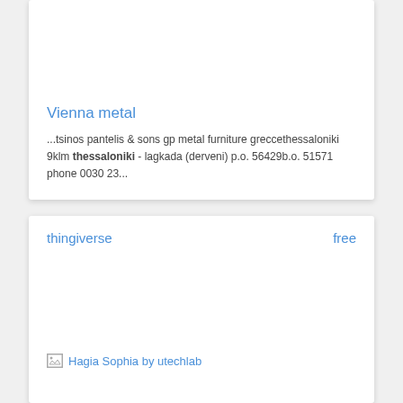Vienna metal
...tsinos pantelis & sons gp metal furniture greccethessaloniki 9klm thessaloniki - lagkada (derveni) p.o. 56429b.o. 51571 phone 0030 23...
thingiverse   free
[Figure (photo): Broken image placeholder with alt text: Hagia Sophia by utechlab]